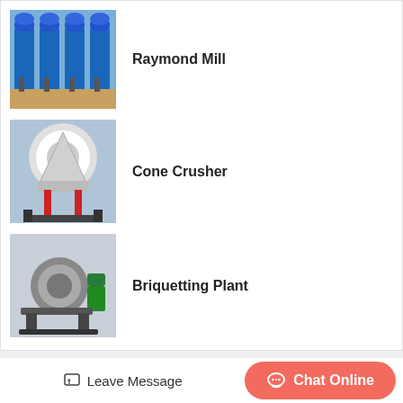[Figure (photo): Raymond Mill industrial machines in blue, lined up in a factory]
Raymond Mill
[Figure (photo): Cone Crusher machine with red and white markings in a factory]
Cone Crusher
[Figure (photo): Briquetting Plant machinery in a factory setting]
Briquetting Plant
Related Blog
Coal Crusher Rolle 3F
Ball Mill Air Clutch Components
Leave Message
Chat Online